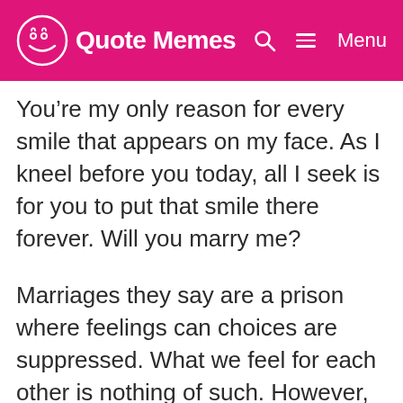Quote Memes  🔍  ☰ Menu
You’re my only reason for every smile that appears on my face. As I kneel before you today, all I seek is for you to put that smile there forever. Will you marry me?
Marriages they say are a prison where feelings can choices are suppressed. What we feel for each other is nothing of such. However, I’m willing to be locked up in your heart for as long as